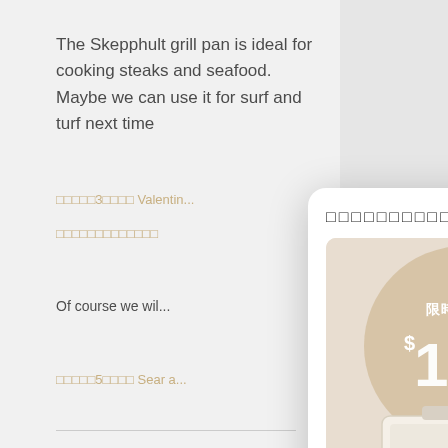The Skepphult grill pan is ideal for cooking steaks and seafood. Maybe we can use it for surf and turf next time
□□□□□3□□□□ Valentin...
□□□□□□□□□□□□□
Of course we wil...
□□□□□5□□□□ Sear a...
Facebook: □□□Ov...
IG: couple_overc...
Contact Us
□□ Share
[Figure (screenshot): A modal popup showing a promotional image for cookware with Chinese text '限時優惠碼' (limited-time promo code) and '$100' displayed over a beige circular background with white ceramic pans. Caption reads 'Couple Overcooked'. A close button (×) appears at bottom right.]
□□□□□□□□□□